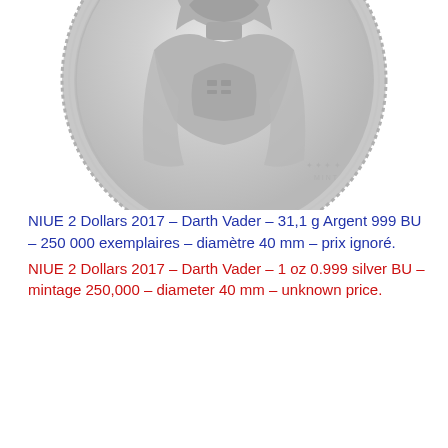[Figure (photo): Silver coin showing Darth Vader (Star Wars), partially cropped at top. The coin appears silver/grey with Darth Vader in relief. A small 'MINT' logo with stars appears at bottom right of the coin.]
NIUE 2 Dollars 2017 – Darth Vader – 31,1 g Argent 999 BU – 250 000 exemplaires – diamètre 40 mm – prix ignoré.
NIUE 2 Dollars 2017 – Darth Vader – 1 oz 0.999 silver BU – mintage 250,000 – diameter 40 mm – unknown price.